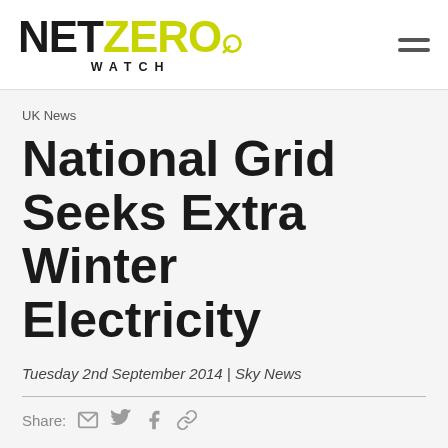NET ZERO WATCH
UK News
National Grid Seeks Extra Winter Electricity
Tuesday 2nd September 2014 | Sky News
Share: